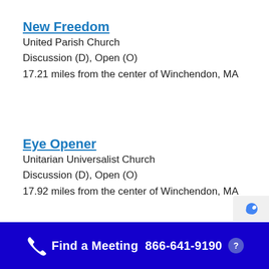New Freedom
United Parish Church
Discussion (D), Open (O)
17.21 miles from the center of Winchendon, MA
Eye Opener
Unitarian Universalist Church
Discussion (D), Open (O)
17.92 miles from the center of Winchendon, MA
Find a Meeting  866-641-9190